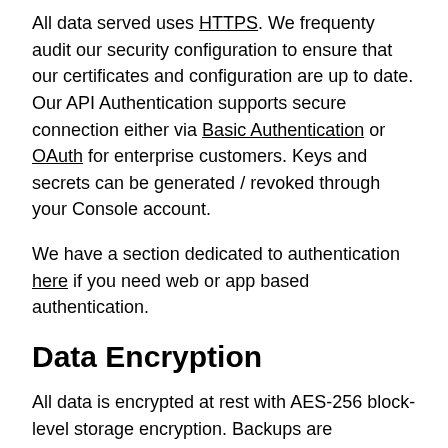All data served uses HTTPS. We frequenty audit our security configuration to ensure that our certificates and configuration are up to date. Our API Authentication supports secure connection either via Basic Authentication or OAuth for enterprise customers. Keys and secrets can be generated / revoked through your Console account.
We have a section dedicated to authentication here if you need web or app based authentication.
Data Encryption
All data is encrypted at rest with AES-256 block-level storage encryption. Backups are generated continuously and stored in an external replicated storage system.
PSD2
The second Payment Service Directive (or PSD2) increases security and encryption standards. Banked